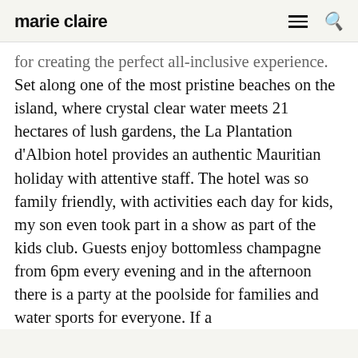marie claire
for creating the perfect all-inclusive experience. Set along one of the most pristine beaches on the island, where crystal clear water meets 21 hectares of lush gardens, the La Plantation d'Albion hotel provides an authentic Mauritian holiday with attentive staff. The hotel was so family friendly, with activities each day for kids, my son even took part in a show as part of the kids club. Guests enjoy bottomless champagne from 6pm every evening and in the afternoon there is a party at the poolside for families and water sports for everyone. If a